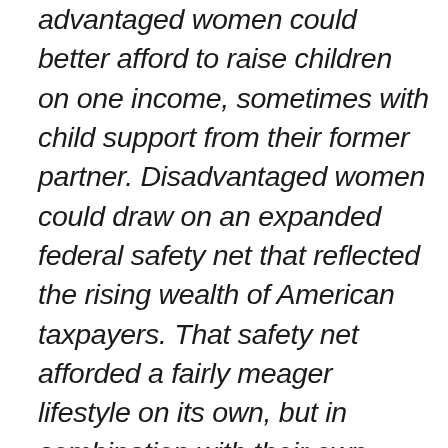advantaged women could better afford to raise children on one income, sometimes with child support from their former partner. Disadvantaged women could draw on an expanded federal safety net that reflected the rising wealth of American taxpayers. That safety net afforded a fairly meager lifestyle on its own, but in combination with their own earnings and assistance from family, friends, and partners, women could increasingly make it work